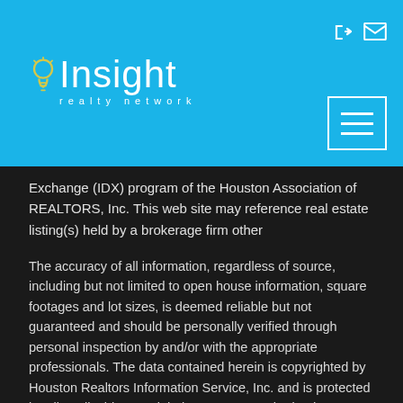[Figure (logo): Insight Realty Network logo with lightbulb icon on blue header background]
Exchange (IDX) program of the Houston Association of REALTORS, Inc. This web site may reference real estate listing(s) held by a brokerage firm other
The accuracy of all information, regardless of source, including but not limited to open house information, square footages and lot sizes, is deemed reliable but not guaranteed and should be personally verified through personal inspection by and/or with the appropriate professionals. The data contained herein is copyrighted by Houston Realtors Information Service, Inc. and is protected by all applicable copyright laws. Any unauthorized dissemination of this information is in violation of copyright laws and is strictly prohibited.